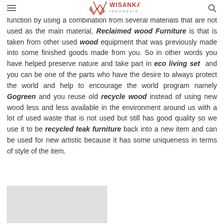WISANKA INDONESIA
function by using a combination from several materials that are not used as the main material, Reclaimed wood Furniture is that is taken from other used wood equipment that was previously made into some finished goods made from you. So in other words you have helped preserve nature and take part in eco living set and you can be one of the parts who have the desire to always protect the world and help to encourage the world program namely Gogreen and you reuse old recycle wood instead of using new wood less and less available in the environment around us with a lot of used waste that is not used but still has good quality so we use it to be recycled teak furniture back into a new item and can be used for new artistic because it has some uniqueness in terms of style of the item.
[Figure (photo): Gray placeholder image at bottom left of page]